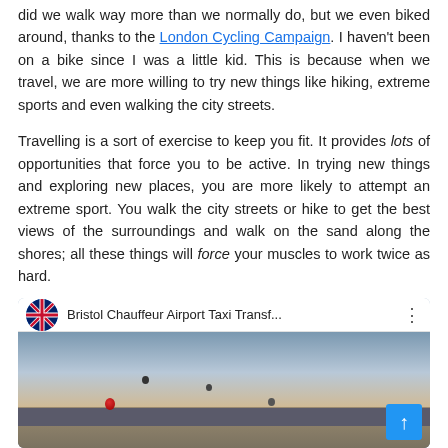did we walk way more than we normally do, but we even biked around, thanks to the London Cycling Campaign. I haven't been on a bike since I was a little kid. This is because when we travel, we are more willing to try new things like hiking, extreme sports and even walking the city streets.
Travelling is a sort of exercise to keep you fit. It provides lots of opportunities that force you to be active. In trying new things and exploring new places, you are more likely to attempt an extreme sport. You walk the city streets or hike to get the best views of the surroundings and walk on the sand along the shores; all these things will force your muscles to work twice as hard.
[Figure (screenshot): Video thumbnail for 'Bristol Chauffeur Airport Taxi Transf...' showing hot air balloons over a city at dusk, with a UK flag icon circle and three-dot menu. A blue scroll-up button appears in the bottom right corner.]